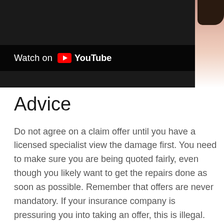[Figure (screenshot): YouTube video thumbnail showing a person in white clothing with dark hair, with a 'Watch on YouTube' overlay bar at the bottom left]
Advice
Do not agree on a claim offer until you have a licensed specialist view the damage first. You need to make sure you are being quoted fairly, even though you likely want to get the repairs done as soon as possible. Remember that offers are never mandatory. If your insurance company is pressuring you into taking an offer, this is illegal.
Getting a second opinion, if you can wait, is highly beneficial. The contractor will be able to validate whether or not you are being quoted correctly before you agree to a settlement option. No matter what has happened to your home, do your best to act quickly and smartly. The longer you put off filing